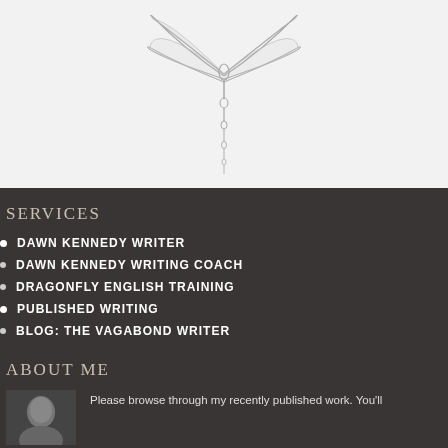[Figure (illustration): Line drawing of a dragonfly (outline/sketch style) on a light gray background]
SERVICES
DAWN KENNEDY WRITER
DAWN KENNEDY WRITING COACH
DRAGONFLY ENGLISH TRAINING
PUBLISHED WRITING
BLOG: THE VAGABOND WRITER
ABOUT ME
Please browse through my recently published work. You'll